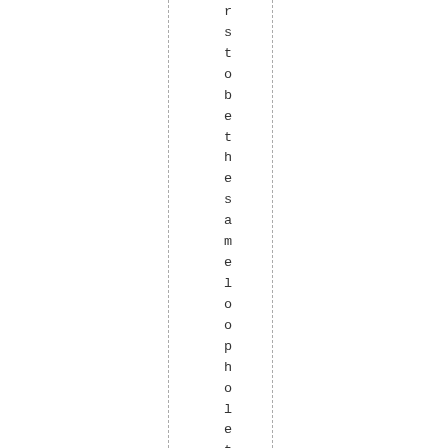r s t o b e t h e s a m e l o o p h o l e t h a t